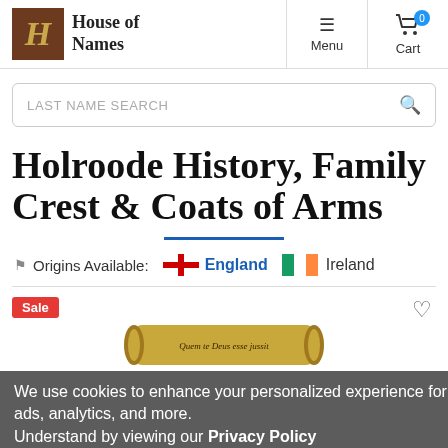House of Names — Menu — Cart
[Figure (screenshot): Search bar with placeholder text LAST NAME SEARCH and magnifier icon]
Holroode History, Family Crest & Coats of Arms
Origins Available: England  Ireland
[Figure (illustration): Holroode family crest illustration with scroll reading Quem te Deus esse jussit, Sale badge, and heart icon]
We use cookies to enhance your personalized experience for ads, analytics, and more. Understand by viewing our Privacy Policy